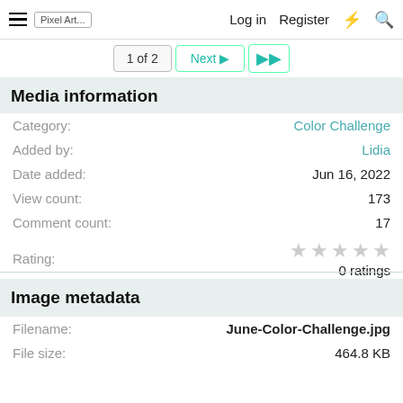≡  [Pixel Art...]  Log in  Register  ⚡  🔍
1 of 2  Next ▶  ▶▶
Media information
| Field | Value |
| --- | --- |
| Category: | Color Challenge |
| Added by: | Lidia |
| Date added: | Jun 16, 2022 |
| View count: | 173 |
| Comment count: | 17 |
| Rating: | ★★★★★
0 ratings |
Image metadata
| Field | Value |
| --- | --- |
| Filename: | June-Color-Challenge.jpg |
| File size: | 464.8 KB |